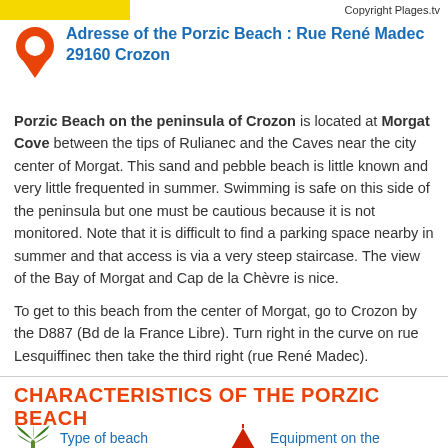Copyright Plages.tv
Adresse of the Porzic Beach : Rue René Madec 29160 Crozon
Porzic Beach on the peninsula of Crozon is located at Morgat Cove between the tips of Rulianec and the Caves near the city center of Morgat. This sand and pebble beach is little known and very little frequented in summer. Swimming is safe on this side of the peninsula but one must be cautious because it is not monitored. Note that it is difficult to find a parking space nearby in summer and that access is via a very steep staircase. The view of the Bay of Morgat and Cap de la Chèvre is nice.
To get to this beach from the center of Morgat, go to Crozon by the D887 (Bd de la France Libre). Turn right in the curve on rue Lesquiffinec then take the third right (rue René Madec).
CHARACTERISTICS OF THE PORZIC BEACH
Type of beach
Equipment on the